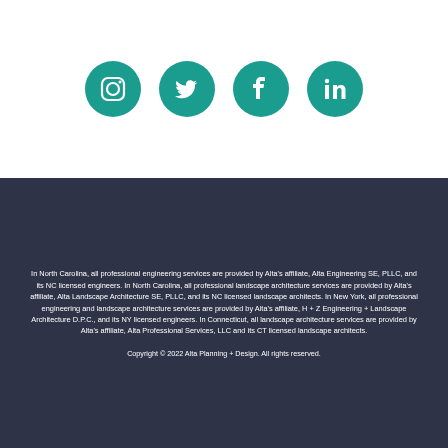[Figure (illustration): Four social media icons in teal circles: Instagram, Twitter, Facebook, LinkedIn arranged horizontally]
In North Carolina, all professional engineering services are provided by Alta's affiliate, Alta Engineering SE, PLLC, and its NC licensed engineers. In North Carolina, all professional landscape architecture services are provided by Alta's affiliate, Alta Landscape Architecture SE, PLLC, and its NC licensed landscape architects. In New York, all professional engineering and landscape architecture services are provided by Alta's affiliate, H + Z Engineering + Landscape Architecture D.P.C., and its NY licensed engineers. In Connecticut, all landscape architecture services are provided by Alta's affiliate, Alta Professional Services, LLC and its CT licensed landscape architects.
Copyright © 2022 Alta Planning + Design. All rights reserved.